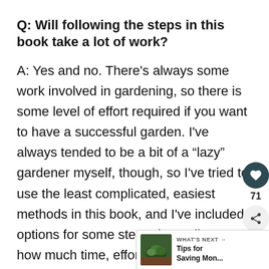Q: Will following the steps in this book take a lot of work?
A: Yes and no. There's always some work involved in gardening, so there is some level of effort required if you want to have a successful garden. I've always tended to be a bit of a “lazy” gardener myself, though, so I've tried to use the least complicated, easiest methods in this book, and I've included options for some steps depending on how much time, effort, and/or money you want to invest in your garden.